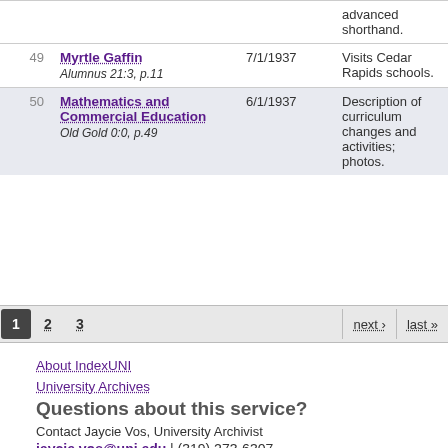| # | Title | Date | Description |
| --- | --- | --- | --- |
|  |  |  | advanced shorthand. |
| 49 | Myrtle Gaffin
Alumnus 21:3, p.11 | 7/1/1937 | Visits Cedar Rapids schools. |
| 50 | Mathematics and Commercial Education
Old Gold 0:0, p.49 | 6/1/1937 | Description of curriculum changes and activities; photos. |
1 2 3  next › last »
About IndexUNI
University Archives
Questions about this service?
Contact Jaycie Vos, University Archivist
jaycie.vos@uni.edu | (319) 273-6307